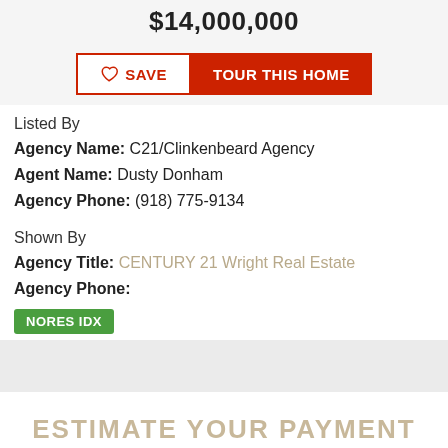$14,000,000
SAVE | TOUR THIS HOME
Listed By
Agency Name: C21/Clinkenbeard Agency
Agent Name: Dusty Donham
Agency Phone: (918) 775-9134
Shown By
Agency Title: CENTURY 21 Wright Real Estate
Agency Phone:
NORES IDX
ESTIMATE YOUR PAYMENT
Estimated Payment